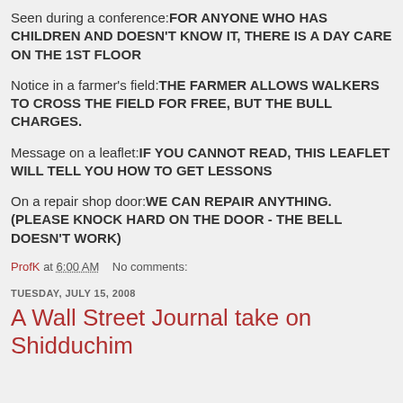Seen during a conference:FOR ANYONE WHO HAS CHILDREN AND DOESN'T KNOW IT, THERE IS A DAY CARE ON THE 1ST FLOOR
Notice in a farmer's field:THE FARMER ALLOWS WALKERS TO CROSS THE FIELD FOR FREE, BUT THE BULL CHARGES.
Message on a leaflet:IF YOU CANNOT READ, THIS LEAFLET WILL TELL YOU HOW TO GET LESSONS
On a repair shop door:WE CAN REPAIR ANYTHING. (PLEASE KNOCK HARD ON THE DOOR - THE BELL DOESN'T WORK)
ProfK at 6:00 AM    No comments:
TUESDAY, JULY 15, 2008
A Wall Street Journal take on Shidduchim